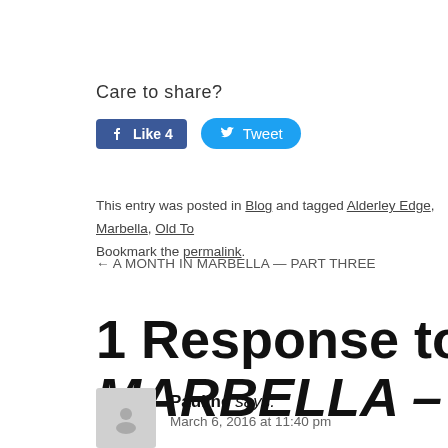Care to share?
[Figure (screenshot): Facebook Like button showing count of 4 and Twitter Tweet button]
This entry was posted in Blog and tagged Alderley Edge, Marbella, Old To... Bookmark the permalink.
← A MONTH IN MARBELLA — PART THREE
1 Response to A MONTH IN MARBELLA – PART FOU
Pauline says: March 6, 2016 at 11:40 pm